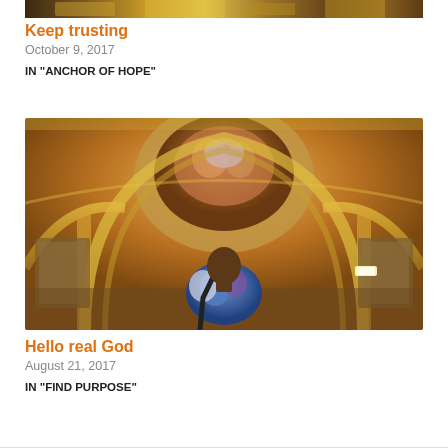[Figure (photo): Partial top image, cropped photograph showing outdoor or landscape scene in warm tones]
Keep trusting
October 9, 2017
IN "ANCHOR OF HOPE"
[Figure (photo): Person with a backpack strap viewed from behind, looking up at an ornate golden baroque ceiling with frescoes in a museum gallery]
Hello real God
August 21, 2017
IN "FIND PURPOSE"